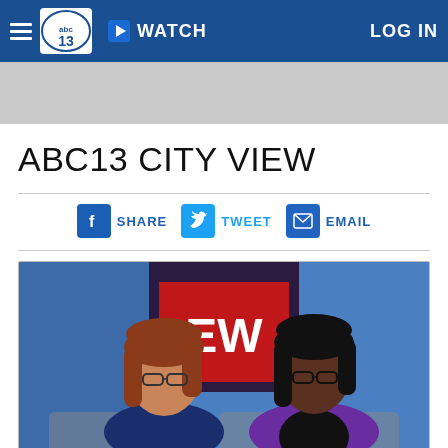abc13 | WATCH | LOG IN
ABC13 CITY VIEW
[Figure (other): Social share buttons: Facebook SHARE, Twitter TWEET, Email EMAIL]
[Figure (photo): Two women sitting on a couch in a TV studio with a blue background showing a news set. The woman on the left has reddish-brown hair and glasses and is wearing a navy top. The woman on the right has dark hair and glasses and is wearing a purple cardigan over a black top.]